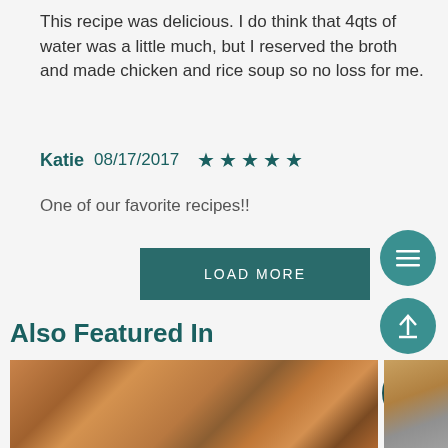This recipe was delicious. I do think that 4qts of water was a little much, but I reserved the broth and made chicken and rice soup so no loss for me.
Katie 08/17/2017 ★★★★★
One of our favorite recipes!!
[Figure (other): LOAD MORE button — dark teal rectangle with white uppercase text]
[Figure (other): Circular teal hamburger menu button with three horizontal lines]
[Figure (other): Circular teal scroll-to-top button with upward arrow]
[Figure (other): Circular dark teal SHARE & SAVE button]
Also Featured In
[Figure (photo): Photo of a chicken pot pie with a golden flaky crust, with a slice cut out revealing filling, a utensil resting on the pie.]